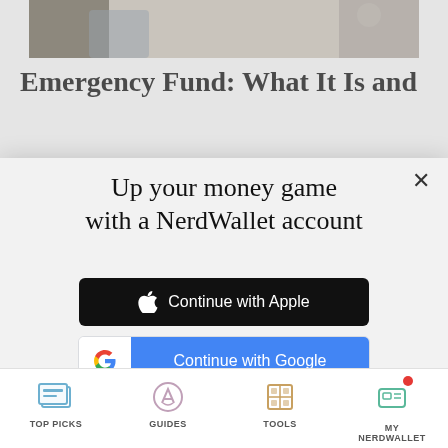[Figure (photo): Partial background photo of people at a table, cropped at top]
Emergency Fund: What It Is and
[Figure (screenshot): NerdWallet sign-up modal with title 'Up your money game with a NerdWallet account', Apple sign-in button, Google sign-in button, email option, and terms of service links]
Up your money game with a NerdWallet account
Continue with Apple
Continue with Google
or continue with email
By signing up, I agree to NerdWallet's Terms of Service and Privacy Policy.
TOP PICKS   GUIDES   TOOLS   MY NERDWALLET